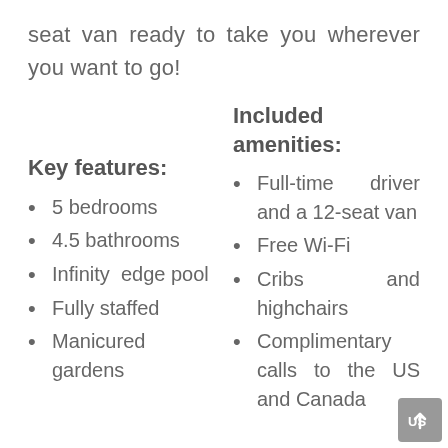seat van ready to take you wherever you want to go!
Key features:
5 bedrooms
4.5 bathrooms
Infinity edge pool
Fully staffed
Manicured gardens
Included amenities:
Full-time driver and a 12-seat van
Free Wi-Fi
Cribs and highchairs
Complimentary calls to the US and Canada